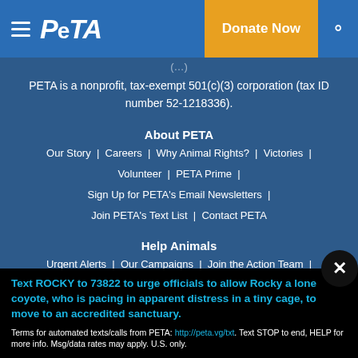PETA | Donate Now
PETA is a nonprofit, tax-exempt 501(c)(3) corporation (tax ID number 52-1218336).
About PETA
Our Story | Careers | Why Animal Rights? | Victories | Volunteer | PETA Prime | Sign Up for PETA's Email Newsletters | Join PETA's Text List | Contact PETA
Help Animals
Urgent Alerts | Our Campaigns | Join the Action Team |
Text ROCKY to 73822 to urge officials to allow Rocky a lone coyote, who is pacing in apparent distress in a tiny cage, to move to an accredited sanctuary.
Terms for automated texts/calls from PETA: http://peta.vg/txt. Text STOP to end, HELP for more info. Msg/data rates may apply. U.S. only.